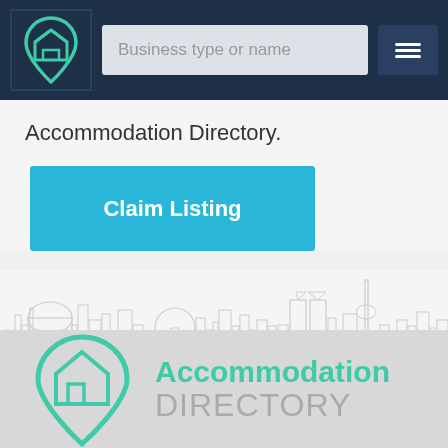[Figure (screenshot): Navigation bar with logo icon (teal house pin), search input placeholder 'Business type or name', and hamburger menu button]
Accommodation Directory.
Claim Listing
[Figure (illustration): City skyline silhouette in light grey outline style]
[Figure (logo): Accommodation Directory logo with teal location pin icon containing house symbol, text 'Accommodation' in teal and 'DIRECTORY' in grey]